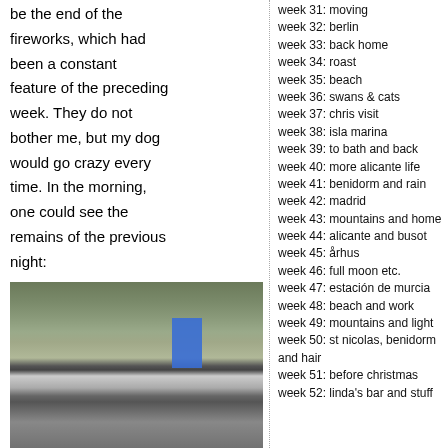be the end of the fireworks, which had been a constant feature of the preceding week. They do not bother me, but my dog would go crazy every time. In the morning, one could see the remains of the previous night:
[Figure (photo): Photo of street or ground surface with debris, showing a wall/barrier and a blue rectangular sign or object in the background]
week 31: moving
week 32: berlin
week 33: back home
week 34: roast
week 35: beach
week 36: swans & cats
week 37: chris visit
week 38: isla marina
week 39: to bath and back
week 40: more alicante life
week 41: benidorm and rain
week 42: madrid
week 43: mountains and home
week 44: alicante and busot
week 45: århus
week 46: full moon etc.
week 47: estación de murcia
week 48: beach and work
week 49: mountains and light
week 50: st nicolas, benidorm and hair
week 51: before christmas
week 52: linda's bar and stuff